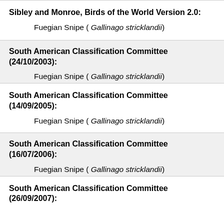Sibley and Monroe, Birds of the World Version 2.0:
Fuegian Snipe ( Gallinago stricklandii)
South American Classification Committee (24/10/2003):
Fuegian Snipe ( Gallinago stricklandii)
South American Classification Committee (14/09/2005):
Fuegian Snipe ( Gallinago stricklandii)
South American Classification Committee (16/07/2006):
Fuegian Snipe ( Gallinago stricklandii)
South American Classification Committee (26/09/2007):